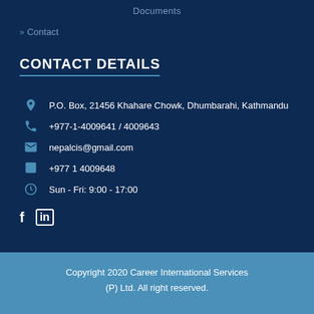Documents
» Contact
CONTACT DETAILS
P.O. Box, 21456 Khahare Chowk, Dhumbarahi, Kathmandu
+977-1-4009641 / 4009643
nepalcis@gmail.com
+977 1 4009648
Sun - Fri: 9:00 - 17:00
f in
Copyright 2020 Career International Services (P) Ltd. All right reserved.